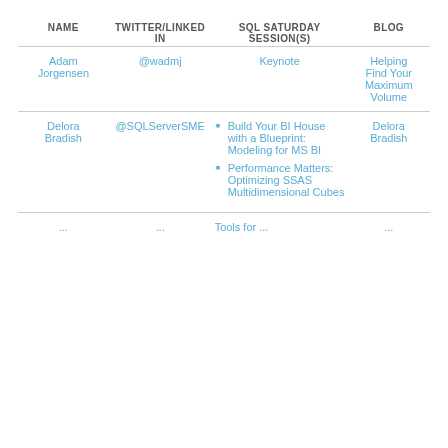| NAME | TWITTER/LINKED IN | SQL SATURDAY SESSION(S) | BLOG |
| --- | --- | --- | --- |
| Adam Jorgensen | @wadmj | Keynote | Helping Find Your Maximum Volume |
| Delora Bradish | @SQLServerSME | • Build Your BI House with a Blueprint: Modeling for MS BI
• Performance Matters: Optimizing SSAS Multidimensional Cubes | Delora Bradish |
| ... | ... | Tools for ... | ... |